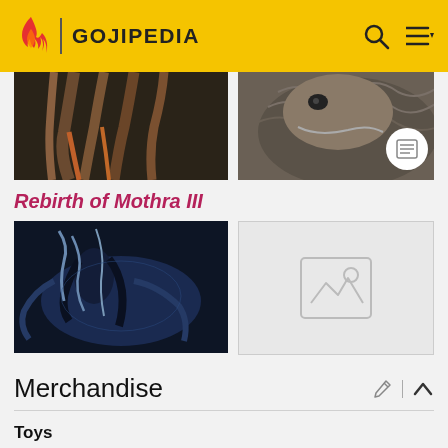GOJIPEDIA
[Figure (photo): Two side-by-side cropped photos of monster/kaiju figures from Gojipedia — left shows dark claws/tentacles, right shows a reptilian scaled creature head]
Rebirth of Mothra III
[Figure (photo): Left: screenshot from Rebirth of Mothra III showing a dark winged creature. Right: placeholder image icon on light grey background]
Merchandise
Toys
[Figure (photo): Partial bottom image placeholder row, cut off at page edge]